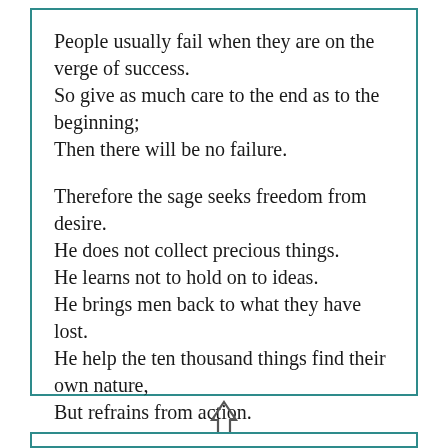People usually fail when they are on the verge of success.
So give as much care to the end as to the beginning;
Then there will be no failure.

Therefore the sage seeks freedom from desire.
He does not collect precious things.
He learns not to hold on to ideas.
He brings men back to what they have lost.
He help the ten thousand things find their own nature,
But refrains from action.
[Figure (illustration): An upward-pointing arrow (outline style)]